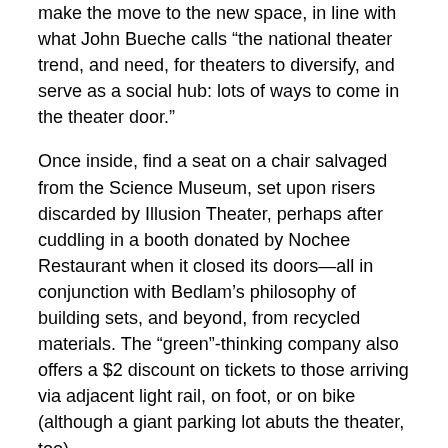make the move to the new space, in line with what John Bueche calls “the national theater trend, and need, for theaters to diversify, and serve as a social hub: lots of ways to come in the theater door.”
Once inside, find a seat on a chair salvaged from the Science Museum, set upon risers discarded by Illusion Theater, perhaps after cuddling in a booth donated by Nochee Restaurant when it closed its doors—all in conjunction with Bedlam’s philosophy of building sets, and beyond, from recycled materials. The “green”-thinking company also offers a $2 discount on tickets to those arriving via adjacent light rail, on foot, or on bike (although a giant parking lot abuts the theater, too).
Bedlam’s own productions defy categorization, except these: According to Bueche, “They’re each unique—completely different every time—not what you expect.”
“Over the top,” Ward adds—as witnessed in the 2006 West Bank Story, which she calls “epic and historical, covering two centuries,” and molded from interviewing past and present residents. Or Terminus, a sci-fi show set in outer space—“We built a space ship around the audience,” she recalls. Or Shining Sea, documenting, in her words, “500 years of imperialism as a